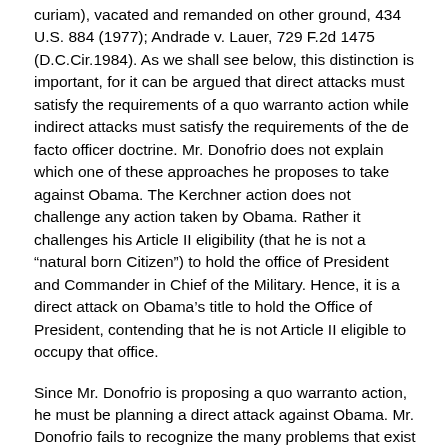curiam), vacated and remanded on other ground, 434 U.S. 884 (1977); Andrade v. Lauer, 729 F.2d 1475 (D.C.Cir.1984). As we shall see below, this distinction is important, for it can be argued that direct attacks must satisfy the requirements of a quo warranto action while indirect attacks must satisfy the requirements of the de facto officer doctrine. Mr. Donofrio does not explain which one of these approaches he proposes to take against Obama. The Kerchner action does not challenge any action taken by Obama. Rather it challenges his Article II eligibility (that he is not a “natural born Citizen”) to hold the office of President and Commander in Chief of the Military. Hence, it is a direct attack on Obama’s title to hold the Office of President, contending that he is not Article II eligible to occupy that office.
Since Mr. Donofrio is proposing a quo warranto action, he must be planning a direct attack against Obama. Mr. Donofrio fails to recognize the many problems that exist with the quo warranto procedure that he advocates. Under the common law, only the United States can bring a quo warranto action. Wallace v.